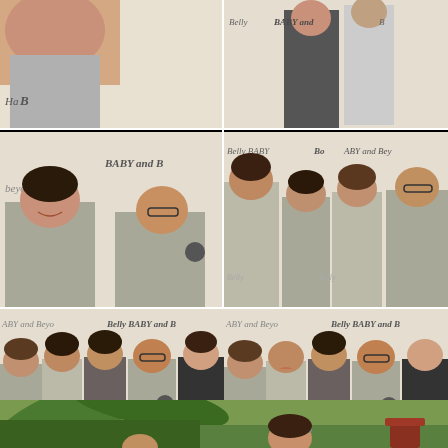[Figure (photo): Top-left: Close-up of a person's face, partially visible, in front of a banner reading 'Belly BABY and Beyond']
[Figure (photo): Top-right: Two people standing in front of a 'Belly BABY and Beyond' banner, one in dark clothes]
[Figure (photo): Middle-left: Two women posing in front of a 'Belly BABY and Beyond' banner, both in light grey t-shirts]
[Figure (photo): Middle-right: Four women posing in front of a 'Belly BABY and Beyond' banner, wearing light grey t-shirts]
[Figure (photo): Lower-left: Five women posing together in front of a 'Belly BABY and Beyond' banner, some in grey t-shirts, one in dark shirt]
[Figure (photo): Lower-right: Five women making fun poses in front of a 'Belly BABY and Beyond' banner, with a white circle/arrow overlay]
[Figure (photo): Bottom: Outdoor scene with palm trees and a woman with a headband visible among foliage]